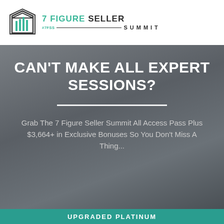[Figure (logo): 7 Figure Seller Summit logo with building icon, teal and dark color scheme]
CAN'T MAKE ALL EXPERT SESSIONS?
Grab The 7 Figure Seller Summit All Access Pass Plus $3,664+ in Exclusive Bonuses So You Don't Miss A Thing...
UPGRADED PLATINUM